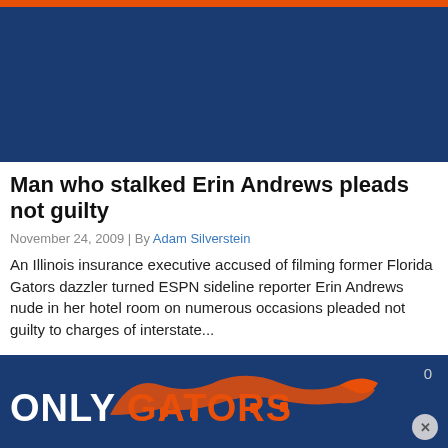Man who stalked Erin Andrews pleads not guilty
November 24, 2009 | By Adam Silverstein
An Illinois insurance executive accused of filming former Florida Gators dazzler turned ESPN sideline reporter Erin Andrews nude in her hotel room on numerous occasions pleaded not guilty to charges of interstate...
[Figure (logo): Only Gators logo on dark blue background with orange gator silhouette]
0